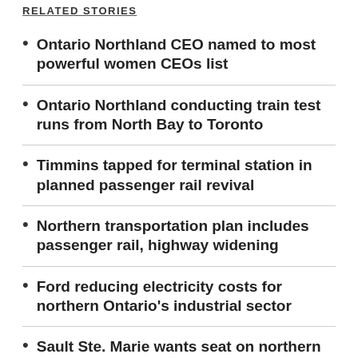RELATED STORIES
Ontario Northland CEO named to most powerful women CEOs list
Ontario Northland conducting train test runs from North Bay to Toronto
Timmins tapped for terminal station in planned passenger rail revival
Northern transportation plan includes passenger rail, highway widening
Ford reducing electricity costs for northern Ontario's industrial sector
Sault Ste. Marie wants seat on northern transportation task force
Northern MPP reintroduces bill for safer